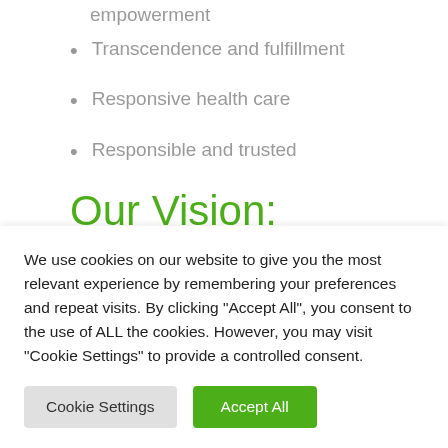Transformative through empowerment
Transcendence and fulfillment
Responsive health care
Responsible and trusted
Our Vision:
Life Glynnview is a premier mental
We use cookies on our website to give you the most relevant experience by remembering your preferences and repeat visits. By clicking "Accept All", you consent to the use of ALL the cookies. However, you may visit "Cookie Settings" to provide a controlled consent.